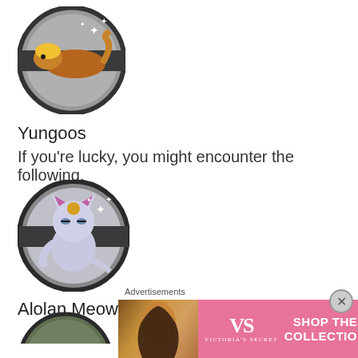[Figure (illustration): Yungoos Pokemon GO circle badge with dark border on grey background, sparkle effects]
Yungoos
If you're lucky, you might encounter the following.
[Figure (illustration): Alolan Meowth Pokemon GO circle badge with dark border on grey background, sparkle effects]
Alolan Meowth
Advertisements
[Figure (photo): Victoria's Secret advertisement banner - pink background with model photo, VS logo, SHOP THE COLLECTION text, and SHOP NOW button]